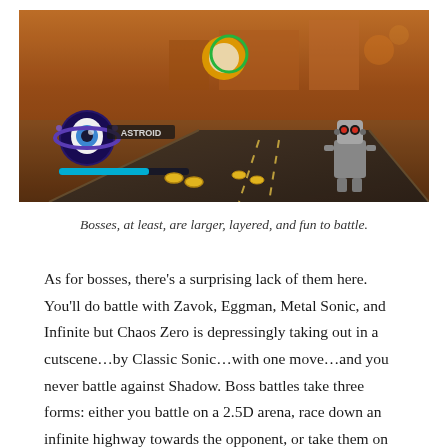[Figure (screenshot): Screenshot from a Sonic video game showing a boss battle. A character with a large eye-like orb (Astroid) is visible on the left with a blue health bar, golden rings scattered on the ground, and a robot enemy on the right side. The environment is a desert/industrial setting with orange-brown tones.]
Bosses, at least, are larger, layered, and fun to battle.
As for bosses, there’s a surprising lack of them here. You'll do battle with Zavok, Eggman, Metal Sonic, and Infinite but Chaos Zero is depressingly taking out in a cutscene…by Classic Sonic…with one move…and you never battle against Shadow. Boss battles take three forms: either you battle on a 2.5D arena, race down an infinite highway towards the opponent, or take them on from a slightly skewed overhead perspective. Bosses have a variety of attacks and forms/stages, which can make them challenging but not too difficult, and sometimes require you to team up with the Avatar to win the day. There’s honestly a lot to